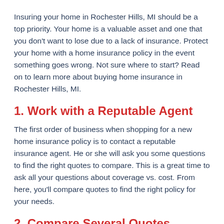Insuring your home in Rochester Hills, MI should be a top priority. Your home is a valuable asset and one that you don't want to lose due to a lack of insurance. Protect your home with a home insurance policy in the event something goes wrong. Not sure where to start? Read on to learn more about buying home insurance in Rochester Hills, MI.
1. Work with a Reputable Agent
The first order of business when shopping for a new home insurance policy is to contact a reputable insurance agent. He or she will ask you some questions to find the right quotes to compare. This is a great time to ask all your questions about coverage vs. cost. From here, you'll compare quotes to find the right policy for your needs.
2. Compare Several Quotes